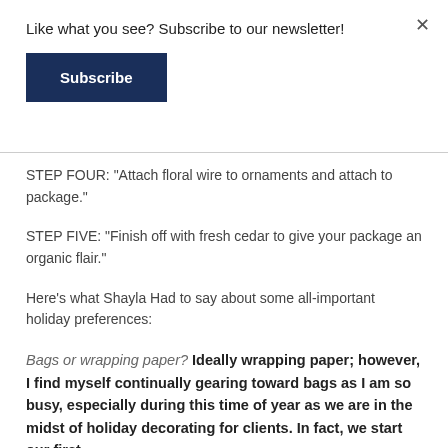Like what you see? Subscribe to our newsletter!
Subscribe
STEP FOUR: “Attach floral wire to ornaments and attach to package.”
STEP FIVE: “Finish off with fresh cedar to give your package an organic flair.”
Here’s what Shayla Had to say about some all-important holiday preferences:
Bags or wrapping paper? Ideally wrapping paper; however, I find myself continually gearing toward bags as I am so busy, especially during this time of year as we are in the midst of holiday decorating for clients. In fact, we start our first